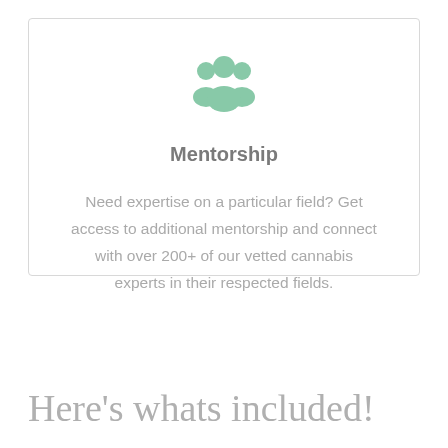[Figure (illustration): Green icon of a group of people representing mentorship/community]
Mentorship
Need expertise on a particular field? Get access to additional mentorship and connect with over 200+ of our vetted cannabis experts in their respected fields.
Here's whats included!